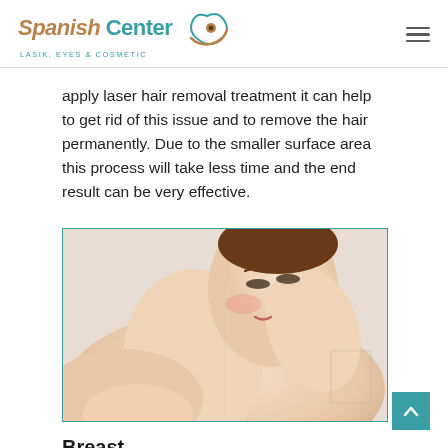Spanish Center LASIK, EYES & COSMETIC
apply laser hair removal treatment it can help to get rid of this issue and to remove the hair permanently. Due to the smaller surface area this process will take less time and the end result can be very effective.
[Figure (photo): Woman with smooth skin touching her neck and underarm area, representing laser hair removal treatment.]
Breast